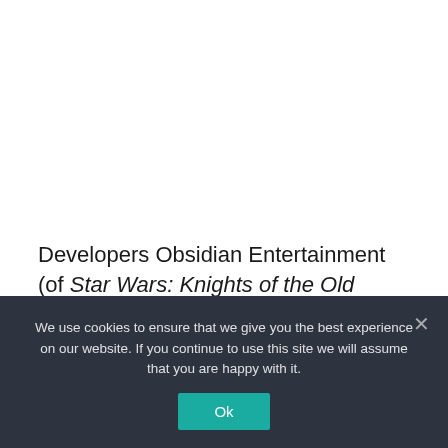Developers Obsidian Entertainment (of Star Wars: Knights of the Old Republic II and Fallout: New Vegas fame) took their spin on the sci-fi dystopian RPG formula from fallout
We use cookies to ensure that we give you the best experience on our website. If you continue to use this site we will assume that you are happy with it.